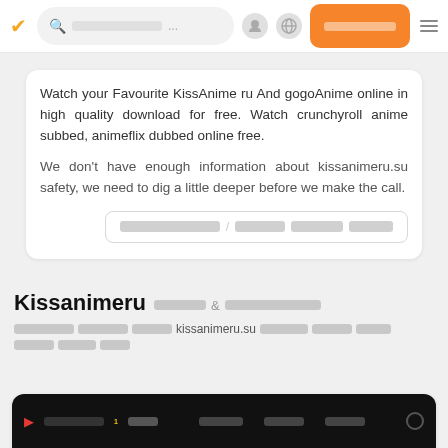[Figure (screenshot): Website navigation bar with orange checkmark logo, search bar, user icon, globe icon, orange button with redacted text, and hamburger menu]
Watch your Favourite KissAnime ru And gogoAnime online in high quality download for free. Watch crunchyroll anime subbed, animeflix dubbed online free.
We don't have enough information about kissanimeru.su safety, we need to dig a little deeper before we make the call.
[redacted button text]
Kissanimeru [redacted] & [redacted]
[redacted] kissanimeru.su [redacted]
[Figure (screenshot): Dark video player interface with red play icon, site name text, and navigation items]